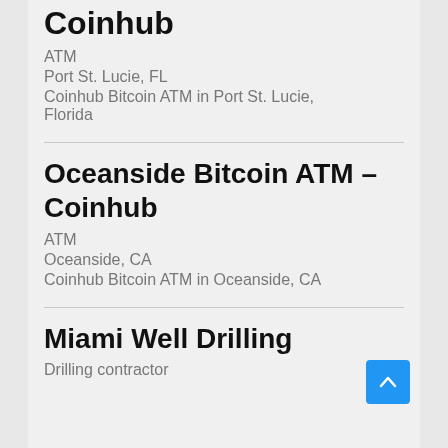Coinhub
ATM
Port St. Lucie, FL
Coinhub Bitcoin ATM in Port St. Lucie, Florida
Oceanside Bitcoin ATM – Coinhub
ATM
Oceanside, CA
Coinhub Bitcoin ATM in Oceanside, CA
Miami Well Drilling
Drilling contractor